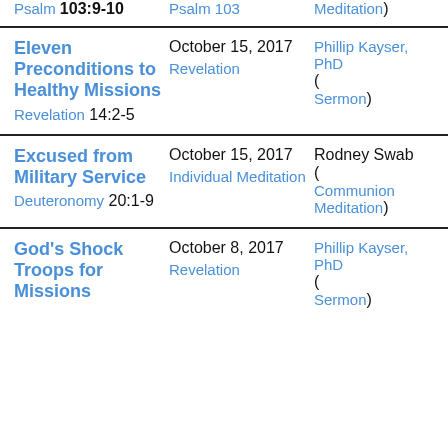| Title/Scripture | Date/Category | Speaker/Type |
| --- | --- | --- |
| Psalm 103:9-10 | Psalm 103 | Meditation) |
| Eleven Preconditions to Healthy Missions
Revelation 14:2-5 | October 15, 2017
Revelation | Phillip Kayser, PhD
(Sermon) |
| Excused from Military Service
Deuteronomy 20:1-9 | October 15, 2017
Individual Meditation | Rodney Swab
(Communion Meditation) |
| God's Shock Troops for Missions | October 8, 2017
Revelation | Phillip Kayser, PhD
(Sermon) |